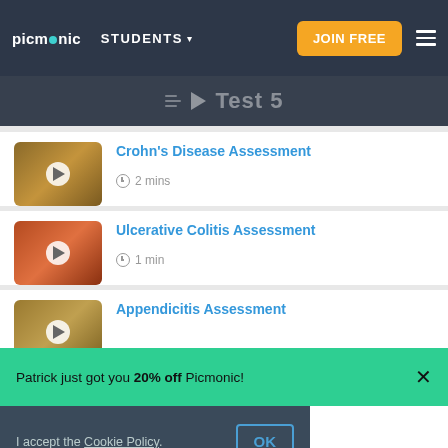picmonic | STUDENTS ▾ | JOIN FREE
▶ Test 5
[Figure (screenshot): Picmonic Crohn's Disease Assessment thumbnail with play button]
Crohn's Disease Assessment
⊙ 2 mins
[Figure (screenshot): Picmonic Ulcerative Colitis Assessment thumbnail with play button]
Ulcerative Colitis Assessment
⊙ 1 min
[Figure (screenshot): Picmonic Appendicitis Assessment thumbnail with play button]
Appendicitis Assessment
Patrick just got you 20% off Picmonic!
Appendicitis Interventions
I accept the Cookie Policy. OK
Acute Pericarditis Assessment